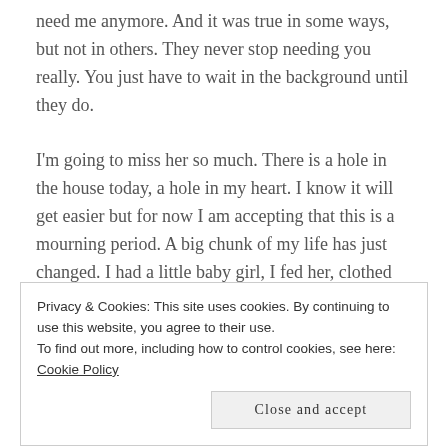need me anymore. And it was true in some ways, but not in others. They never stop needing you really. You just have to wait in the background until they do.
I'm going to miss her so much. There is a hole in the house today, a hole in my heart. I know it will get easier but for now I am accepting that this is a mourning period. A big chunk of my life has just changed. I had a little baby girl, I fed her, clothed her, loved her, carried her, played with her, taught her everything I could, wiped her tears and picked her up
Privacy & Cookies: This site uses cookies. By continuing to use this website, you agree to their use.
To find out more, including how to control cookies, see here: Cookie Policy
Close and accept
she was my little girl, my little friend, my sidekick, her